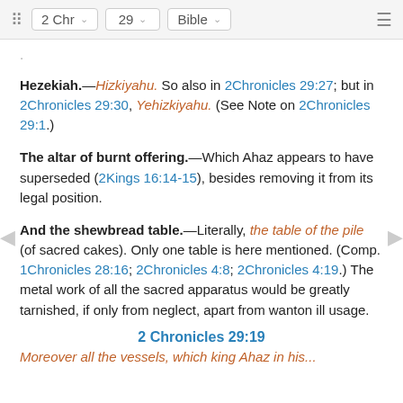2 Chr  29  Bible
Hezekiah.—Hizkiyahu. So also in 2Chronicles 29:27; but in 2Chronicles 29:30, Yehizkiyahu. (See Note on 2Chronicles 29:1.)
The altar of burnt offering.—Which Ahaz appears to have superseded (2Kings 16:14-15), besides removing it from its legal position.
And the shewbread table.—Literally, the table of the pile (of sacred cakes). Only one table is here mentioned. (Comp. 1Chronicles 28:16; 2Chronicles 4:8; 2Chronicles 4:19.) The metal work of all the sacred apparatus would be greatly tarnished, if only from neglect, apart from wanton ill usage.
2 Chronicles 29:19
Moreover all the vessels, which king Ahaz in his...